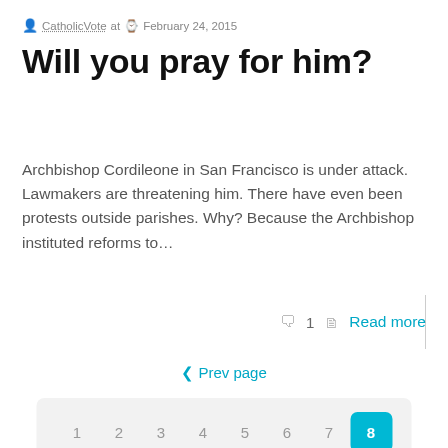CatholicVote at February 24, 2015
Will you pray for him?
Archbishop Cordileone in San Francisco is under attack. Lawmakers are threatening him. There have even been protests outside parishes. Why? Because the Archbishop instituted reforms to…
1   Read more
‹ Prev page
1 2 3 4 5 6 7 8 9 10 11 12
Next page ›